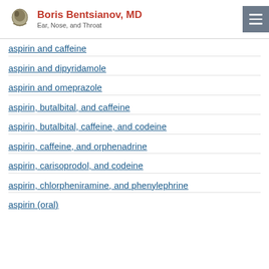Boris Bentsianov, MD — Ear, Nose, and Throat
aspirin and caffeine
aspirin and dipyridamole
aspirin and omeprazole
aspirin, butalbital, and caffeine
aspirin, butalbital, caffeine, and codeine
aspirin, caffeine, and orphenadrine
aspirin, carisoprodol, and codeine
aspirin, chlorpheniramine, and phenylephrine
aspirin (oral)